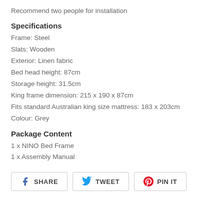Recommend two people for installation
Specifications
Frame: Steel
Slats: Wooden
Exterior: Linen fabric
Bed head height: 87cm
Storage height: 31.5cm
King frame dimension: 215 x 190 x 87cm
Fits standard Australian king size mattress: 183 x 203cm
Colour: Grey
Package Content
1 x NINO Bed Frame
1 x Assembly Manual